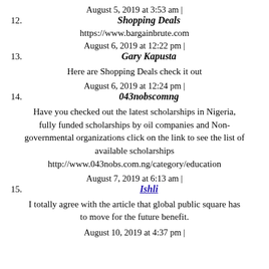12. Shopping Deals | August 5, 2019 at 3:53 am
https://www.bargainbrute.com
13. Gary Kapusta | August 6, 2019 at 12:22 pm
Here are Shopping Deals check it out
14. 043nobscomng | August 6, 2019 at 12:24 pm
Have you checked out the latest scholarships in Nigeria, fully funded scholarships by oil companies and Non-governmental organizations click on the link to see the list of available scholarships http://www.043nobs.com.ng/category/education
15. Ishli | August 7, 2019 at 6:13 am
I totally agree with the article that global public square has to move for the future benefit.
August 10, 2019 at 4:37 pm |